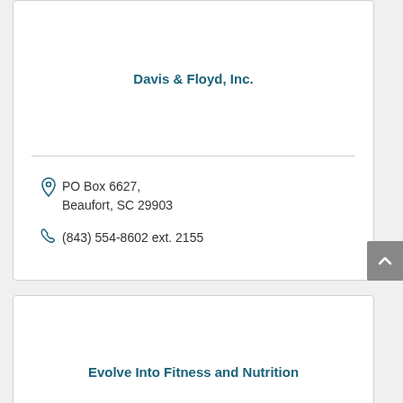Davis & Floyd, Inc.
PO Box 6627, Beaufort, SC 29903
(843) 554-8602 ext. 2155
Evolve Into Fitness and Nutrition